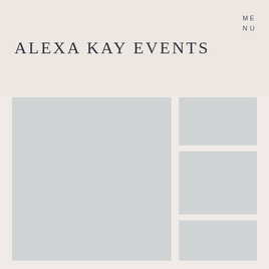ALEXA KAY EVENTS
ME
NU
[Figure (photo): Large placeholder photo block - left column top]
[Figure (photo): Placeholder photo block - right column top]
[Figure (photo): Placeholder photo block - right column middle]
[Figure (photo): Placeholder photo block - right column bottom]
[Figure (photo): Placeholder photo block - bottom left]
[Figure (photo): Placeholder photo block - bottom right]